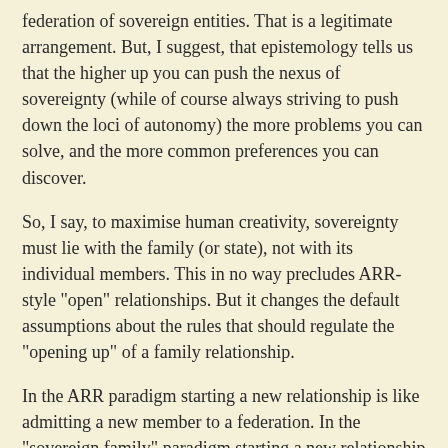federation of sovereign entities. That is a legitimate arrangement. But, I suggest, that epistemology tells us that the higher up you can push the nexus of sovereignty (while of course always striving to push down the loci of autonomy) the more problems you can solve, and the more common preferences you can discover.
So, I say, to maximise human creativity, sovereignty must lie with the family (or state), not with its individual members. This in no way precludes ARR-style "open" relationships. But it changes the default assumptions about the rules that should regulate the "opening up" of a family relationship.
In the ARR paradigm starting a new relationship is like admitting a new member to a federation. In the "sovereign family" paradigm starting a new relationship is like two sovereign entities embarking upon a union into a single sovereign entity. The latter is not impossible, but only rarely is it actually a good idea -- i.e. conducive to increasing human creativity -- even in principle; and hardly ever is it feasible in practice.
- Kolya